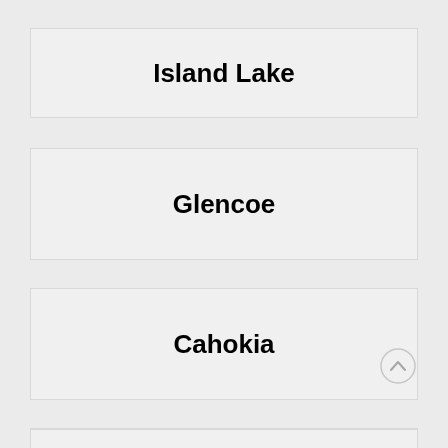Island Lake
Glencoe
Cahokia
Prospect Heights